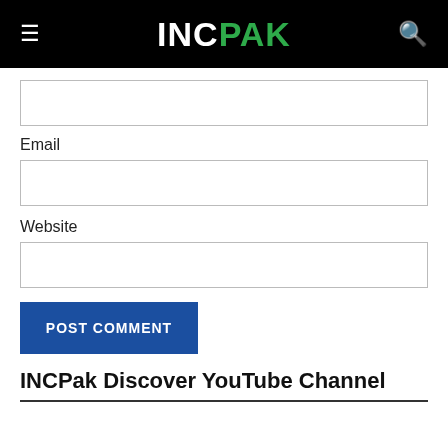INCPAK
Email
Website
POST COMMENT
INCPak Discover YouTube Channel